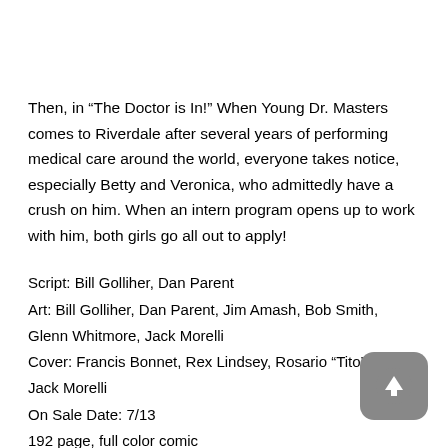Then, in “The Doctor is In!” When Young Dr. Masters comes to Riverdale after several years of performing medical care around the world, everyone takes notice, especially Betty and Veronica, who admittedly have a crush on him. When an intern program opens up to work with him, both girls go all out to apply!
Script: Bill Golliher, Dan Parent
Art: Bill Golliher, Dan Parent, Jim Amash, Bob Smith, Glenn Whitmore, Jack Morelli
Cover: Francis Bonnet, Rex Lindsey, Rosario “Tito” Peña, Jack Morelli
On Sale Date: 7/13
192 page, full color comic
[Figure (other): Upload/share button icon — rounded square gray button with upward arrow]